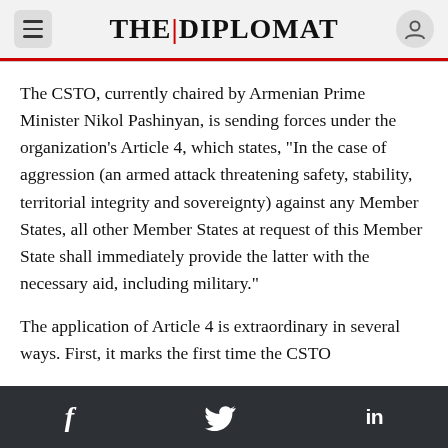THE DIPLOMAT
The CSTO, currently chaired by Armenian Prime Minister Nikol Pashinyan, is sending forces under the organization’s Article 4, which states, “In the case of aggression (an armed attack threatening safety, stability, territorial integrity and sovereignty) against any Member States, all other Member States at request of this Member State shall immediately provide the latter with the necessary aid, including military.”
The application of Article 4 is extraordinary in several ways. First, it marks the first time the CSTO
f  ᵰ  in